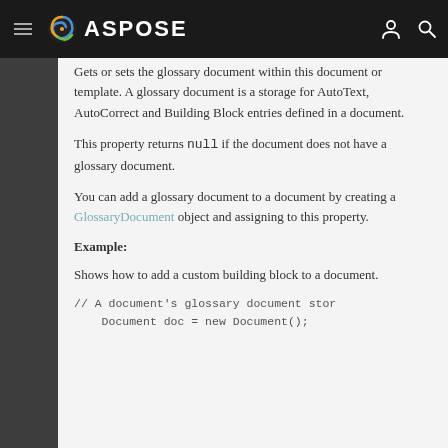ASPOSE
Gets or sets the glossary document within this document or template. A glossary document is a storage for AutoText, AutoCorrect and Building Block entries defined in a document.
This property returns null if the document does not have a glossary document.
You can add a glossary document to a document by creating a GlossaryDocument object and assigning to this property.
Example:
Shows how to add a custom building block to a document.
// A document's glossary document stor
    Document doc = new Document();